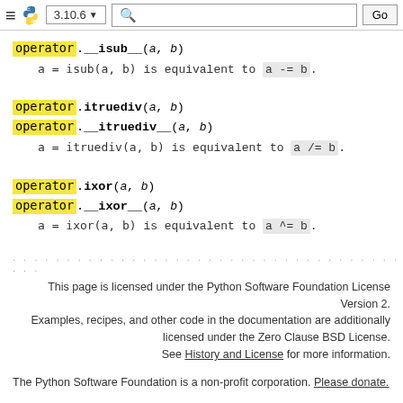≡ 🐍 3.10.6 ▾ [search] Go
operator.__isub__(a, b)
a = isub(a, b) is equivalent to a -= b.
operator.itruediv(a, b)
operator.__itruediv__(a, b)
a = itruediv(a, b) is equivalent to a /= b.
operator.ixor(a, b)
operator.__ixor__(a, b)
a = ixor(a, b) is equivalent to a ^= b.
This page is licensed under the Python Software Foundation License Version 2. Examples, recipes, and other code in the documentation are additionally licensed under the Zero Clause BSD License. See History and License for more information.
The Python Software Foundation is a non-profit corporation. Please donate.
Last updated on Aug 21, 2022. Found a bug? Created using Sphinx 3.4.3.